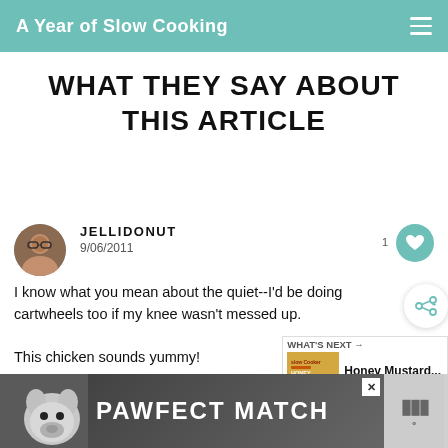A Year of Slow Cooking
WHAT THEY SAY ABOUT THIS ARTICLE
JELLIDONUT
9/06/2011
I know what you mean about the quiet--I'd be doing cartwheels too if my knee wasn't messed up.

This chicken sounds yummy!
[Figure (screenshot): What's Next panel showing Honey Mustard Chicken thumbnail and label]
[Figure (screenshot): PAWFECT MATCH advertisement banner with dog photo]